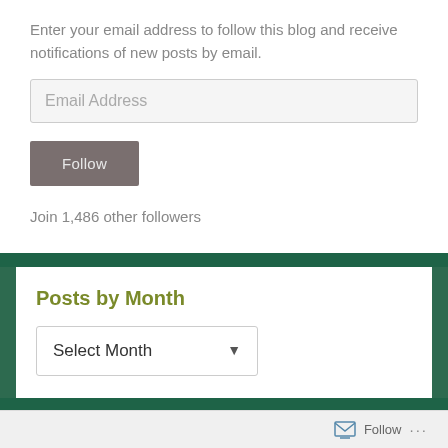Enter your email address to follow this blog and receive notifications of new posts by email.
Email Address
Follow
Join 1,486 other followers
Posts by Month
Select Month
Follow